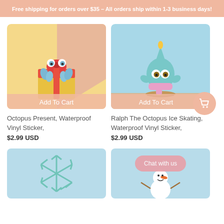Free shipping for orders over $35 – All orders ship within 1-3 business days!
[Figure (illustration): Octopus character holding a gift box with red bow, on yellow/peach background, with Add To Cart button overlay]
Octopus Present, Waterproof Vinyl Sticker,
$2.99 USD
[Figure (illustration): Ralph the octopus ice skating character on blue background, with Add To Cart button overlay and cart icon circle]
Ralph The Octopus Ice Skating, Waterproof Vinyl Sticker,
$2.99 USD
[Figure (illustration): Snowflake icon on light blue background]
[Figure (illustration): Snowman character on light blue background with Chat with us bubble overlay]